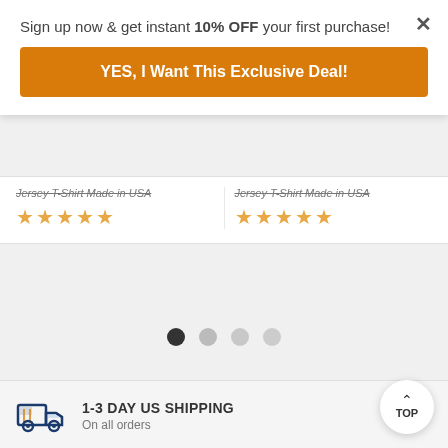Sign up now & get instant 10% OFF your first purchase!
YES, I Want This Exclusive Deal!
Jersey T-Shirt Made in USA
Jersey T-Shirt Made in USA
[Figure (other): Carousel navigation dots: 4 dots, first one dark/active, rest light gray]
[Figure (other): Truck delivery icon with orange and navy blue colors]
1-3 DAY US SHIPPING
On all orders
[Figure (other): Free returns icon, circular arrow with orange color]
FREE RETURNS